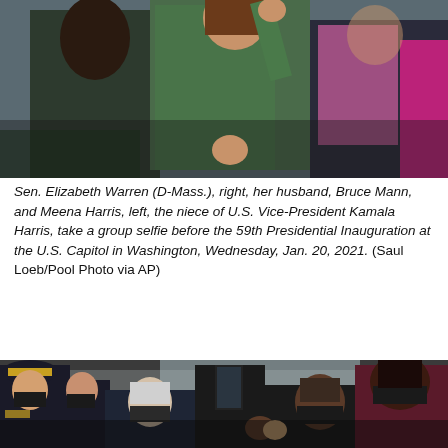[Figure (photo): Sen. Elizabeth Warren in green coat waving, person in pink scarf (Bruce Mann) and Meena Harris taking a group selfie, outdoors at the U.S. Capitol inauguration.]
Sen. Elizabeth Warren (D-Mass.), right, her husband, Bruce Mann, and Meena Harris, left, the niece of U.S. Vice-President Kamala Harris, take a group selfie before the 59th Presidential Inauguration at the U.S. Capitol in Washington, Wednesday, Jan. 20, 2021. (Saul Loeb/Pool Photo via AP)
[Figure (photo): Military officer, Joe Biden, Barack Obama and Michelle Obama wearing face masks at the 59th Presidential Inauguration at the U.S. Capitol.]